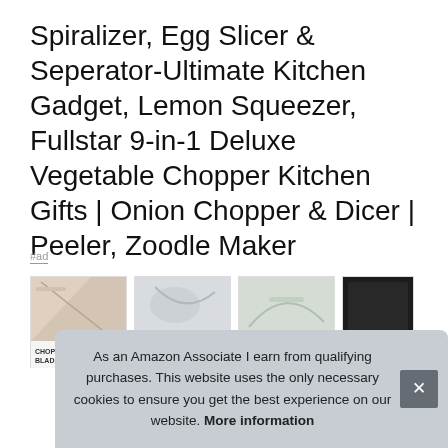Spiralizer, Egg Slicer & Seperator-Ultimate Kitchen Gadget, Lemon Squeezer, Fullstar 9-in-1 Deluxe Vegetable Chopper Kitchen Gifts | Onion Chopper & Dicer | Peeler, Zoodle Maker
#ad
[Figure (photo): Row of four product thumbnail images, partially visible, showing kitchen gadget products with a label 'CHOP BLAD' visible on the first image.]
As an Amazon Associate I earn from qualifying purchases. This website uses the only necessary cookies to ensure you get the best experience on our website. More information